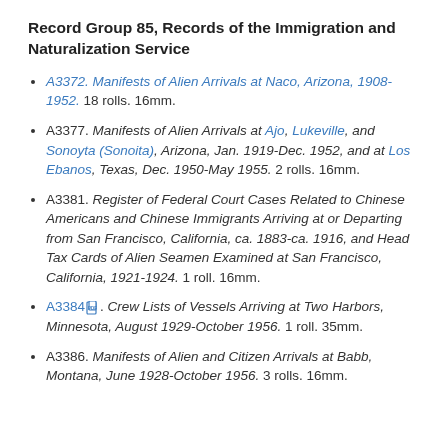Record Group 85, Records of the Immigration and Naturalization Service
A3372. Manifests of Alien Arrivals at Naco, Arizona, 1908-1952. 18 rolls. 16mm.
A3377. Manifests of Alien Arrivals at Ajo, Lukeville, and Sonoyta (Sonoita), Arizona, Jan. 1919-Dec. 1952, and at Los Ebanos, Texas, Dec. 1950-May 1955. 2 rolls. 16mm.
A3381. Register of Federal Court Cases Related to Chinese Americans and Chinese Immigrants Arriving at or Departing from San Francisco, California, ca. 1883-ca. 1916, and Head Tax Cards of Alien Seamen Examined at San Francisco, California, 1921-1924. 1 roll. 16mm.
A3384. Crew Lists of Vessels Arriving at Two Harbors, Minnesota, August 1929-October 1956. 1 roll. 35mm.
A3386. Manifests of Alien and Citizen Arrivals at Babb, Montana, June 1928-October 1956. 3 rolls. 16mm.